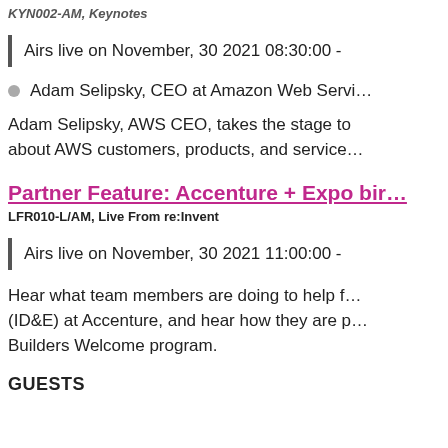KYN002-AM, Keynotes
Airs live on November, 30 2021 08:30:00 -
Adam Selipsky, CEO at Amazon Web Servi…
Adam Selipsky, AWS CEO, takes the stage to… about AWS customers, products, and service…
Partner Feature: Accenture + Expo bir…
LFR010-L/AM, Live From re:Invent
Airs live on November, 30 2021 11:00:00 -
Hear what team members are doing to help f… (ID&E) at Accenture, and hear how they are p… Builders Welcome program.
GUESTS